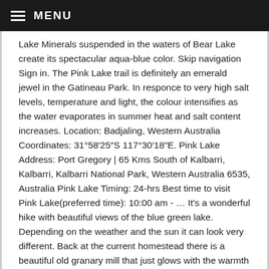≡ MENU
Lake Minerals suspended in the waters of Bear Lake create its spectacular aqua-blue color. Skip navigation Sign in. The Pink Lake trail is definitely an emerald jewel in the Gatineau Park. In responce to very high salt levels, temperature and light, the colour intensifies as the water evaporates in summer heat and salt content increases. Location: Badjaling, Western Australia Coordinates: 31°58′25″S 117°30′18″E. Pink Lake Address: Port Gregory | 65 Kms South of Kalbarri, Kalbarri, Kalbarri National Park, Western Australia 6535, Australia Pink Lake Timing: 24-hrs Best time to visit Pink Lake(preferred time): 10:00 am - … It's a wonderful hike with beautiful views of the blue green lake. Depending on the weather and the sun it can look very different. Back at the current homestead there is a beautiful old granary mill that just glows with the warmth of natural stone. Hikers have several ways to reach the Hollywood Sign atop Mount Lee in Griffith Park. California State Parks, State of California. Pets are not allowed on the Pink Lake, King Mountain or Luskville Falls trails. Lake McKenzie, one of the most visited natural wonders in Australia and a must-do on any #FraserIsland bucket list.